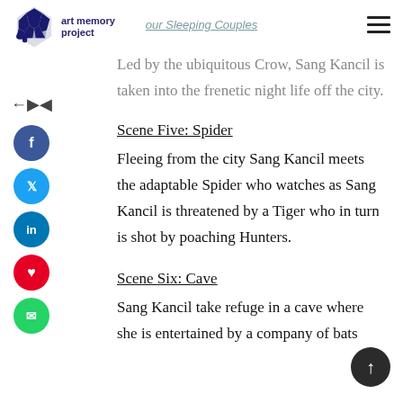art memory project
Led by the ubiquitous Crow, Sang Kancil is taken into the frenetic night life off the city.
Scene Five: Spider
Fleeing from the city Sang Kancil meets the adaptable Spider who watches as Sang Kancil is threatened by a Tiger who in turn is shot by poaching Hunters.
Scene Six: Cave
Sang Kancil take refuge in a cave where she is entertained by a company of bats